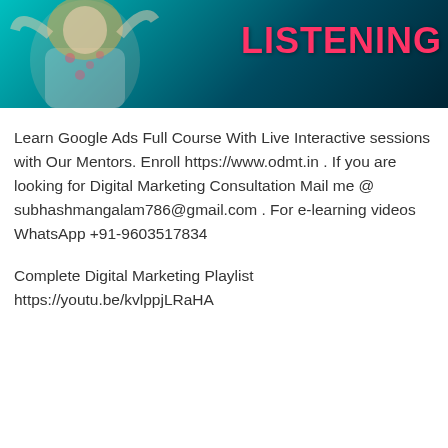[Figure (illustration): Banner with teal/dark background, a woman with blonde hair in a floral top on the left, and large red bold text 'LISTENING' on the right]
Learn Google Ads Full Course With Live Interactive sessions with Our Mentors. Enroll https://www.odmt.in . If you are looking for Digital Marketing Consultation Mail me @ subhashmangalam786@gmail.com . For e-learning videos WhatsApp +91-9603517834
Complete Digital Marketing Playlist https://youtu.be/kvlppjLRaHA